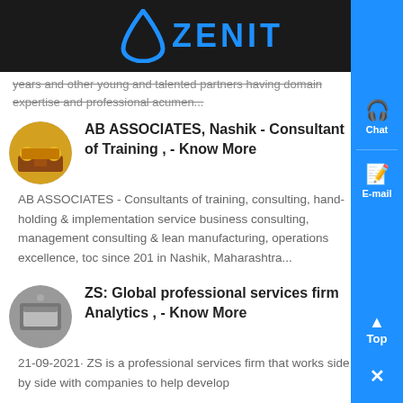ZENIT
years and other young and talented partners having domain expertise and professional acumen...
AB ASSOCIATES, Nashik - Consultant of Training , - Know More
AB ASSOCIATES - Consultants of training, consulting, hand-holding & implementation service business consulting, management consulting & lean manufacturing, operations excellence, toc since 201 in Nashik, Maharashtra...
ZS: Global professional services firm Analytics , - Know More
21-09-2021· ZS is a professional services firm that works side by side with companies to help develop